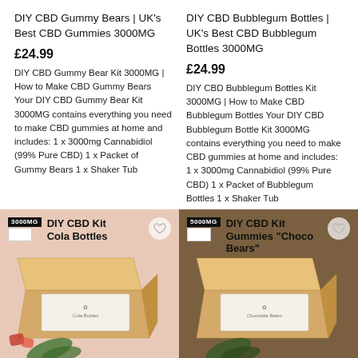DIY CBD Gummy Bears | UK's Best CBD Gummies 3000MG
£24.99
DIY CBD Gummy Bear Kit 3000MG | How to Make CBD Gummy Bears Your DIY CBD Gummy Bear Kit 3000MG contains everything you need to make CBD gummies at home and includes: 1 x 3000mg Cannabidiol (99% Pure CBD) 1 x Packet of Gummy Bears 1 x Shaker Tub
DIY CBD Bubblegum Bottles | UK's Best CBD Bubblegum Bottles 3000MG
£24.99
DIY CBD Bubblegum Bottles Kit 3000MG | How to Make CBD Bubblegum Bottles Your DIY CBD Bubblegum Bottle Kit 3000MG contains everything you need to make CBD gummies at home and includes: 1 x 3000mg Cannabidiol (99% Pure CBD) 1 x Packet of Bubblegum Bottles 1 x Shaker Tub
[Figure (photo): Product card with pink background showing DIY CBD Kit Cola Bottles 3000MG label with a kraft cardboard box and cannabis leaf]
[Figure (photo): Product card with brown background showing DIY CBD Kit Gummies Choco Bears 5000MG label with a kraft cardboard box]